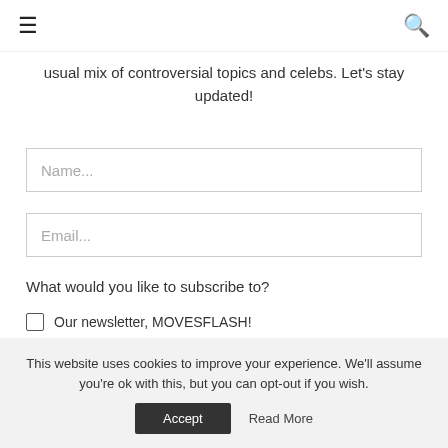☰ [search icon]
usual mix of controversial topics and celebs. Let's stay updated!
Name...
Email...
What would you like to subscribe to?
Our newsletter, MOVESFLASH!
Complimentary Issue and Moves Magazine Updates
This website uses cookies to improve your experience. We'll assume you're ok with this, but you can opt-out if you wish.
Accept   Read More